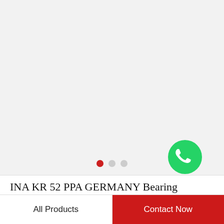[Figure (logo): WhatsApp green circle icon with white phone handset, labeled WhatsApp Online in italic text]
INA KR 52 PPA GERMANY Bearing 52*20*66
All Products
Contact Now